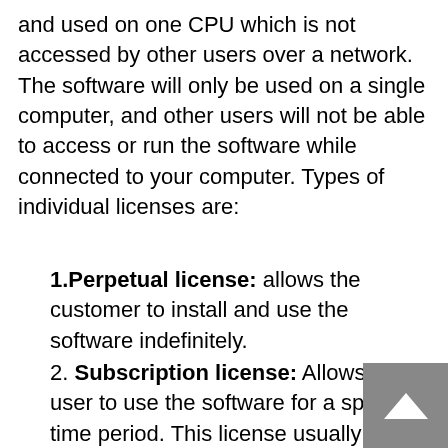and used on one CPU which is not accessed by other users over a network. The software will only be used on a single computer, and other users will not be able to access or run the software while connected to your computer. Types of individual licenses are:
1. Perpetual license: allows the customer to install and use the software indefinitely.
2. Subscription license: Allows the user to use the software for a specified time period. This license usually includes technical support and access to upgrades and patches released during the term of the subscription. At the end of the...